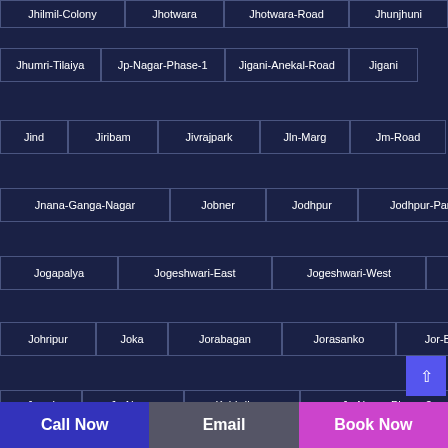Jhilmil-Colony
Jhotwara
Jhotwara-Road
Jhunjhuni
Jhumri-Tilaiya
Jp-Nagar-Phase-1
Jigani-Anekal-Road
Jigani
Jind
Jiribam
Jivrajpark
Jln-Marg
Jm-Road
Jnana-Ganga-Nagar
Jobner
Jodhpur
Jodhpur-Park
Jogapalya
Jogeshwari-East
Jogeshwari-West
Jogulamba
Johripur
Joka
Jorabagan
Jorasanko
Jor-Bagh
Jorhat
Jowai
Jp-Nagar
Kabirdham
Jp-Nagar-Phase-2
Call Now
Email
Book Now